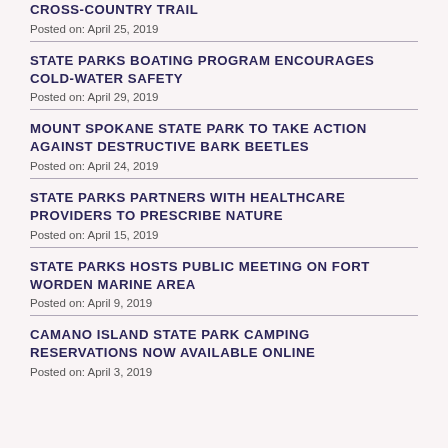CROSS-COUNTRY TRAIL
Posted on: April 25, 2019
STATE PARKS BOATING PROGRAM ENCOURAGES COLD-WATER SAFETY
Posted on: April 29, 2019
MOUNT SPOKANE STATE PARK TO TAKE ACTION AGAINST DESTRUCTIVE BARK BEETLES
Posted on: April 24, 2019
STATE PARKS PARTNERS WITH HEALTHCARE PROVIDERS TO PRESCRIBE NATURE
Posted on: April 15, 2019
STATE PARKS HOSTS PUBLIC MEETING ON FORT WORDEN MARINE AREA
Posted on: April 9, 2019
CAMANO ISLAND STATE PARK CAMPING RESERVATIONS NOW AVAILABLE ONLINE
Posted on: April 3, 2019